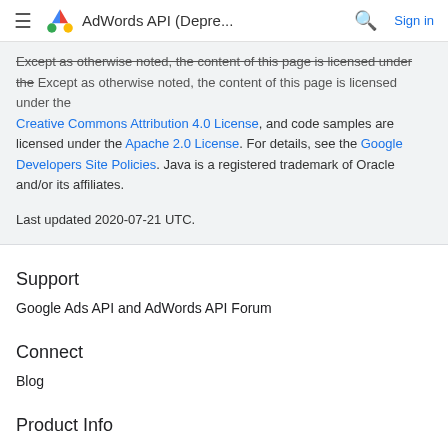AdWords API (Depre... Sign in
Except as otherwise noted, the content of this page is licensed under the Creative Commons Attribution 4.0 License, and code samples are licensed under the Apache 2.0 License. For details, see the Google Developers Site Policies. Java is a registered trademark of Oracle and/or its affiliates.

Last updated 2020-07-21 UTC.
Support
Google Ads API and AdWords API Forum
Connect
Blog
Product Info
Sign Up for API Access